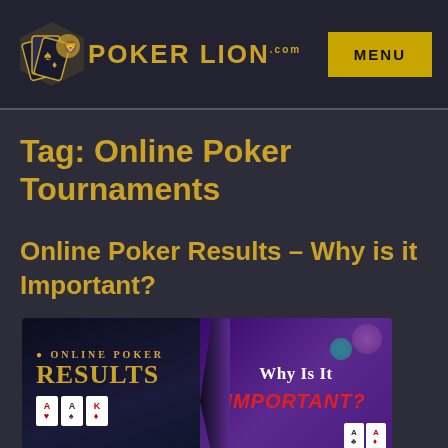POKER LION .com — MENU
Tag: Online Poker Tournaments
Online Poker Results – Why is it Important?
[Figure (illustration): Promotional banner image for 'Online Poker Results – Why is it Important?' article, showing casino cards on dark blue background on the left with gold text 'Online Poker Results', and purple/dark background on the right with white and red text 'Why is it Important?']